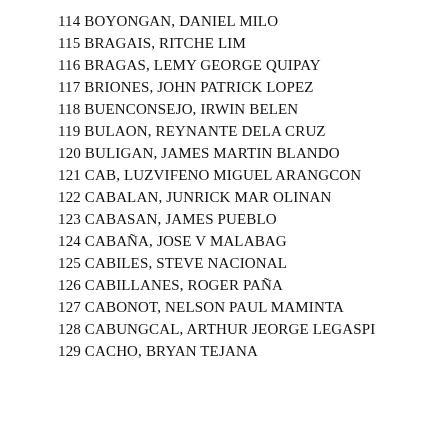114 BOYONGAN, DANIEL MILO
115 BRAGAIS, RITCHE LIM
116 BRAGAS, LEMY GEORGE QUIPAY
117 BRIONES, JOHN PATRICK LOPEZ
118 BUENCONSEJO, IRWIN BELEN
119 BULAON, REYNANTE DELA CRUZ
120 BULIGAN, JAMES MARTIN BLANDO
121 CAB, LUZVIFENO MIGUEL ARANGCON
122 CABALAN, JUNRICK MAR OLINAN
123 CABASAN, JAMES PUEBLO
124 CABAÑA, JOSE V MALABAG
125 CABILES, STEVE NACIONAL
126 CABILLANES, ROGER PAÑA
127 CABONOT, NELSON PAUL MAMINTA
128 CABUNGCAL, ARTHUR JEORGE LEGASPI
129 CACHO, BRYAN TEJANA